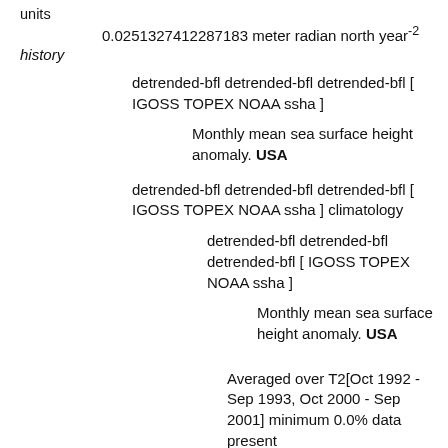units
0.0251327412287183 meter radian north year⁻²
history
detrended-bfl detrended-bfl detrended-bfl [ IGOSS TOPEX NOAA ssha ]
Monthly mean sea surface height anomaly. USA
detrended-bfl detrended-bfl detrended-bfl [ IGOSS TOPEX NOAA ssha ] climatology
detrended-bfl detrended-bfl detrended-bfl [ IGOSS TOPEX NOAA ssha ]
Monthly mean sea surface height anomaly. USA
Averaged over T2[Oct 1992 - Sep 1993, Oct 2000 - Sep 2001] minimum 0.0% data present
$integral dY$ detrended-bfl detrended-bfl